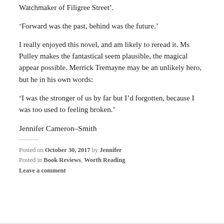Watchmaker of Filigree Street'.
'Forward was the past, behind was the future.'
I really enjoyed this novel, and am likely to reread it. Ms Pulley makes the fantastical seem plausible, the magical appear possible. Merrick Tremayne may be an unlikely hero, but he in his own words:
'I was the stronger of us by far but I'd forgotten, because I was too used to feeling broken.'
Jennifer Cameron-Smith
Posted on October 30, 2017 by Jennifer
Posted in Book Reviews, Worth Reading
Leave a comment